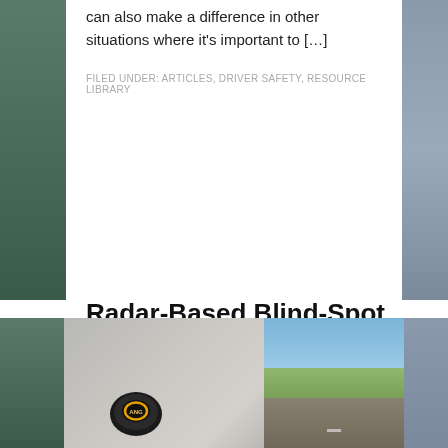can also make a difference in other situations where it's important to […]
FILED UNDER: ARTICLES, DRIVER SAFETY, RESOURCE LIBRARY
Radar-Based Blind-Spot Monitoring Systems Help Prevent Accidents
JUNE 19, 2022 BY BESTCARAUDIO.COM
LEAVE A COMMENT
[Figure (photo): Car interior dashboard close-up with a black radar blind-spot sensor device on the left and a road/highway scene visible through the windshield on the right]